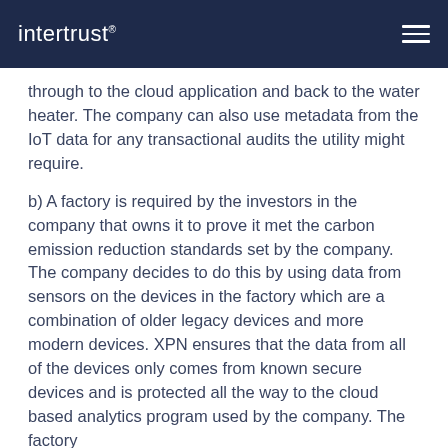intertrust
through to the cloud application and back to the water heater. The company can also use metadata from the IoT data for any transactional audits the utility might require.
b) A factory is required by the investors in the company that owns it to prove it met the carbon emission reduction standards set by the company. The company decides to do this by using data from sensors on the devices in the factory which are a combination of older legacy devices and more modern devices. XPN ensures that the data from all of the devices only comes from known secure devices and is protected all the way to the cloud based analytics program used by the company. The factory